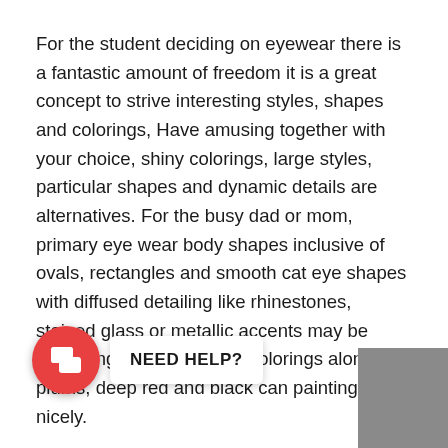For the student deciding on eyewear there is a fantastic amount of freedom it is a great concept to strive interesting styles, shapes and colorings, Have amusing together with your choice, shiny colorings, large styles, particular shapes and dynamic details are alternatives. For the busy dad or mom, primary eye wear body shapes inclusive of ovals, rectangles and smooth cat eye shapes with diffused detailing like rhinestones, stained glass or metallic accents may be appealing. Eyewear body colorings along with plums, deep red and black can paintings nicely.
Lastly for the athletic man or woman there have in no way been greater eye put on alternatives than there are nowadays with wraparound styles, eye wear shields, sports unique eye wear options (green tinted lenses for seeing the diffused traces and flags within the inexperienced, or yellow tinted lenses for seeing in misty situations, and rose or crimson tinted ski goggles for seeing the traces and slopes of the ski hill) and sports